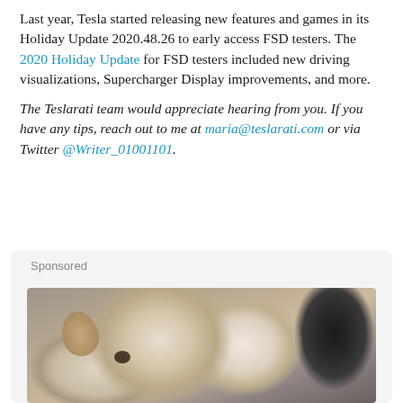Last year, Tesla started releasing new features and games in its Holiday Update 2020.48.26 to early access FSD testers. The 2020 Holiday Update for FSD testers included new driving visualizations, Supercharger Display improvements, and more.
The Teslarati team would appreciate hearing from you. If you have any tips, reach out to me at maria@teslarati.com or via Twitter @Writer_01001101.
[Figure (photo): Sponsored advertisement showing puppies — white/cream fluffy puppies and a black and white puppy closely grouped together]